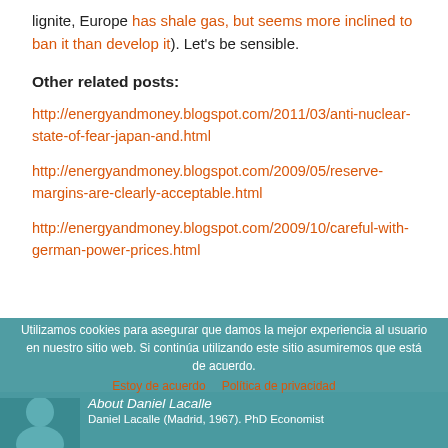lignite, Europe has shale gas, but seems more inclined to ban it than develop it). Let's be sensible.
Other related posts:
http://energyandmoney.blogspot.com/2011/03/anti-nuclear-state-of-fear-japan-and.html
http://energyandmoney.blogspot.com/2009/05/reserve-margins-are-clearly-acceptable.html
http://energyandmoney.blogspot.com/2009/10/careful-with-german-power-prices.html
Utilizamos cookies para asegurar que damos la mejor experiencia al usuario en nuestro sitio web. Si continúa utilizando este sitio asumiremos que está de acuerdo.
About Daniel Lacalle
Estoy de acuerdo   Política de privacidad
Daniel Lacalle (Madrid, 1967). PhD Economist